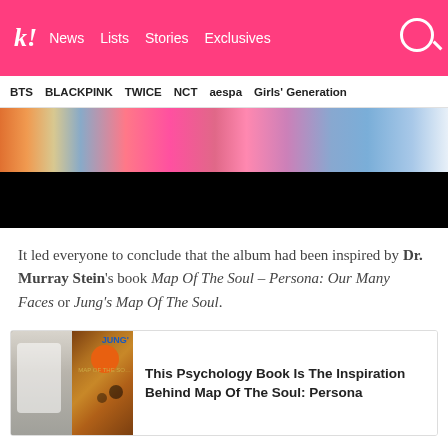k! News  Lists  Stories  Exclusives
BTS  BLACKPINK  TWICE  NCT  aespa  Girls' Generation
[Figure (photo): Screenshot from a K-pop music video showing performers in colorful outfits in front of bright buildings, lower half black]
It led everyone to conclude that the album had been inspired by Dr. Murray Stein's book Map Of The Soul – Persona: Our Many Faces or Jung's Map Of The Soul.
[Figure (photo): Related article card with image of a K-pop idol and book cover for Jung's Map Of The Soul]
This Psychology Book Is The Inspiration Behind Map Of The Soul: Persona